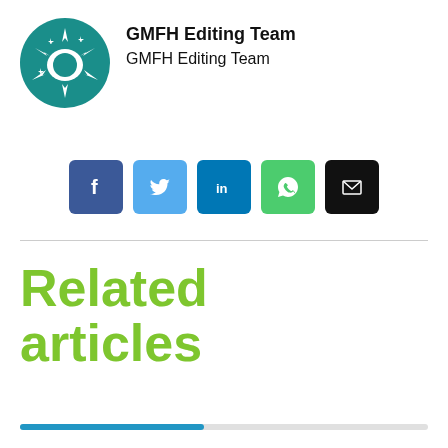[Figure (logo): GMFH circular logo with teal background and white star/microbe shapes]
GMFH Editing Team
GMFH Editing Team
[Figure (infographic): Social sharing icons: Facebook, Twitter, LinkedIn, WhatsApp, Email]
Related articles